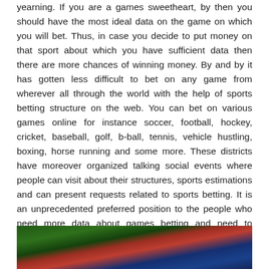yearning. If you are a games sweetheart, by then you should have the most ideal data on the game on which you will bet. Thus, in case you decide to put money on that sport about which you have sufficient data then there are more chances of winning money. By and by it has gotten less difficult to bet on any game from wherever all through the world with the help of sports betting structure on the web. You can bet on various games online for instance soccer, football, hockey, cricket, baseball, golf, b-ball, tennis, vehicle hustling, boxing, horse running and some more. These districts have moreover organized talking social events where people can visit about their structures, sports estimations and can present requests related to sports betting. It is an unprecedented preferred position to the people who need more data about games betting and need to construct their understandings about games toto site system.
[Figure (photo): A sports-related photograph showing what appears to be a player in a green and red jersey, with a blue background, partially cropped at the bottom of the page.]